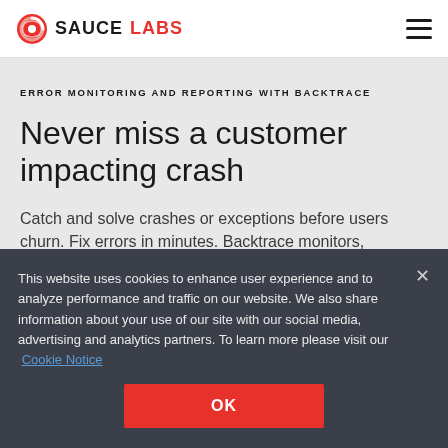[Figure (logo): Sauce Labs logo with red circular icon and text SAUCE LABS]
ERROR MONITORING AND REPORTING WITH BACKTRACE
Never miss a customer impacting crash
Catch and solve crashes or exceptions before users churn. Fix errors in minutes. Backtrace monitors,
This website uses cookies to enhance user experience and to analyze performance and traffic on our website. We also share information about your use of our site with our social media, advertising and analytics partners. To learn more please visit our Cookie Notice
OK